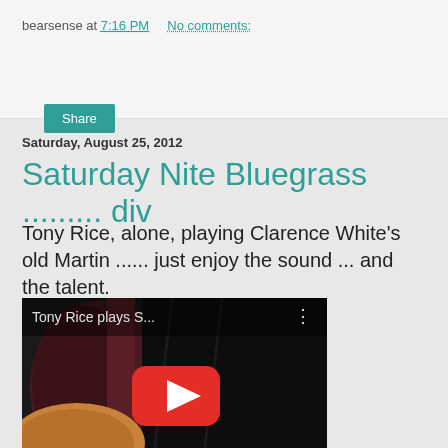bearsense at 7:16 PM    No comments:
Share
Saturday, August 25, 2012
Saturday Nite Bluegrass ......... div
Tony Rice, alone, playing Clarence White's old Martin ...... just enjoy the sound ... and the talent.
[Figure (screenshot): Embedded YouTube video thumbnail showing Tony Rice plays S... with a red play button over a dark guitar background]